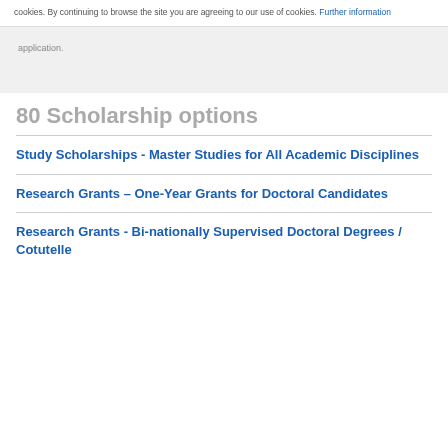cookies. By continuing to browse the site you are agreeing to our use of cookies. Further information
application.
80 Scholarship options
Study Scholarships - Master Studies for All Academic Disciplines
Research Grants – One-Year Grants for Doctoral Candidates
Research Grants - Bi-nationally Supervised Doctoral Degrees / Cotutelle